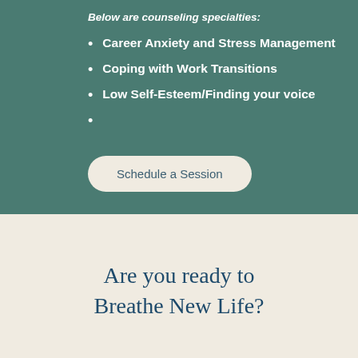Below are counseling specialties:
Career Anxiety and Stress Management
Coping with Work Transitions
Low Self-Esteem/Finding your voice
Schedule a Session
Are you ready to Breathe New Life?